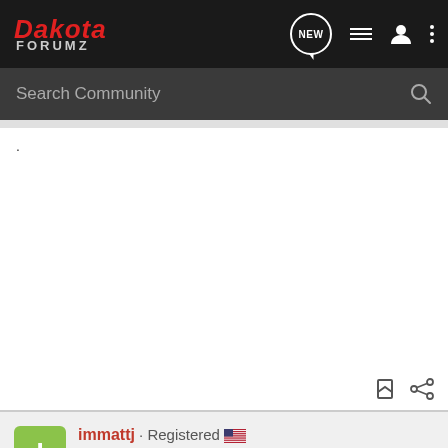Dakota ForumZ
Search Community
.
immattj · Registered
2003 RT (5.9)
Joined Jun 18, 2017 · 764 Posts
#12 · May 25, 2022 (Edited)
. . . and, as 1980boxcar typed, a bad ground could certainly